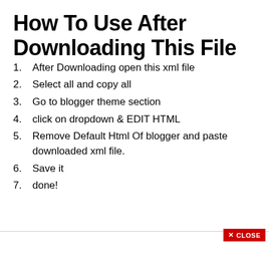How To Use After Downloading This File
After Downloading open this xml file
Select all and copy all
Go to blogger theme section
click on dropdown & EDIT HTML
Remove Default Html Of blogger and paste downloaded xml file.
Save it
done!